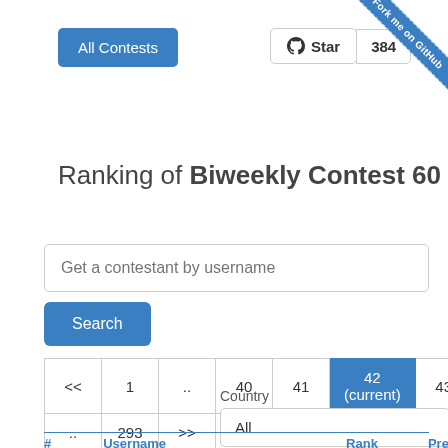[Figure (other): All Contests button (blue rounded rectangle)]
[Figure (other): GitHub Star button with Octocat logo and count 384, and Fork me on GitHub ribbon in top-right corner]
Ranking of Biweekly Contest 60
Get a contestant by username (search input)
[Figure (other): Search button (blue)]
[Figure (other): Pagination: << 1 .. 40 41 42(current) 43 44 .. 293 >>]
Country
All (dropdown)
# Username Rank Previous rating